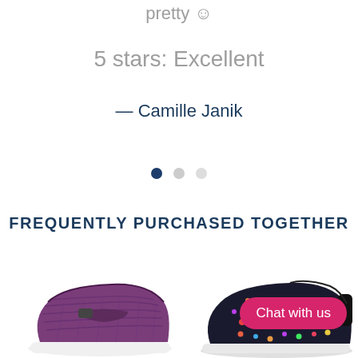pretty 😊
5 stars: Excellent
— Camille Janik
[Figure (other): Carousel navigation dots: one dark blue filled dot (active), one light gray dot, one lighter gray dot]
FREQUENTLY PURCHASED TOGETHER
[Figure (photo): Two shoes side by side: left is a purple woven Mary Jane slip-on shoe with strap, right is a colorful woven sneaker with multicolor dot pattern and gray sole. A pink 'Chat with us' button overlays the right shoe.]